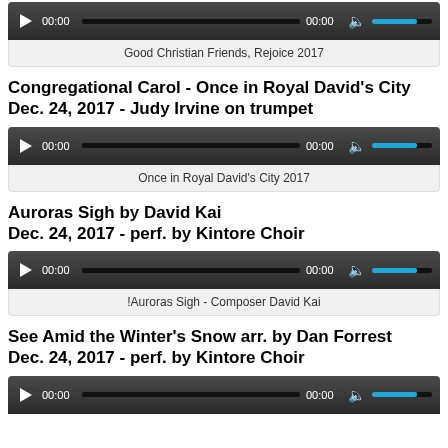[Figure (screenshot): Audio player bar for Good Christian Friends, Rejoice 2017]
Good Christian Friends, Rejoice 2017
Congregational Carol - Once in Royal David's City
Dec. 24, 2017 - Judy Irvine on trumpet
[Figure (screenshot): Audio player bar for Once in Royal David's City 2017]
Once in Royal David's City 2017
Auroras Sigh by David Kai
Dec. 24, 2017 - perf. by Kintore Choir
[Figure (screenshot): Audio player bar for !Auroras Sigh - Composer David Kai]
!Auroras Sigh - Composer David Kai
See Amid the Winter's Snow arr. by Dan Forrest
Dec. 24, 2017 - perf. by Kintore Choir
[Figure (screenshot): Audio player bar at bottom of page]